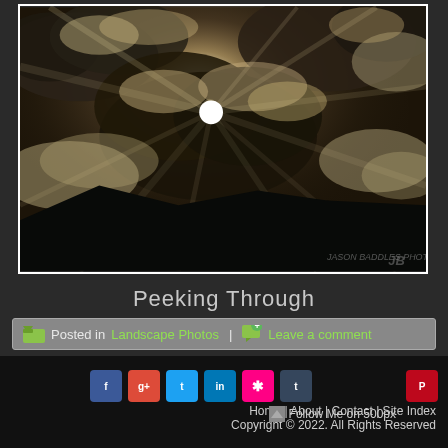[Figure (photo): Dramatic black and white / sepia landscape photograph showing sunrays bursting through dark storm clouds over mountain silhouettes. Sun is partially obscured by clouds with god rays streaming outward. Mountains in foreground are dark silhouettes. Watermark 'JB' visible bottom right.]
Peeking Through
Posted in Landscape Photos | Leave a comment
[Figure (other): Row of social media icons: Facebook, Google+, Twitter, LinkedIn, Flickr, Tumblr, and Pinterest. Plus a 'Follow Me on 500px' link with icon.]
Home | About | Contact | Site Index
Copyright © 2022. All Rights Reserved